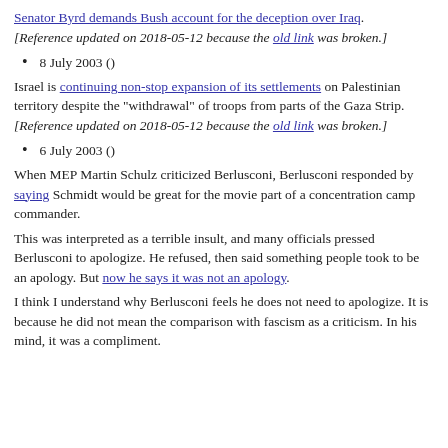Senator Byrd demands Bush account for the deception over Iraq. [Reference updated on 2018-05-12 because the old link was broken.]
8 July 2003 ()
Israel is continuing non-stop expansion of its settlements on Palestinian territory despite the "withdrawal" of troops from parts of the Gaza Strip. [Reference updated on 2018-05-12 because the old link was broken.]
6 July 2003 ()
When MEP Martin Schulz criticized Berlusconi, Berlusconi responded by saying Schmidt would be great for the movie part of a concentration camp commander.
This was interpreted as a terrible insult, and many officials pressed Berlusconi to apologize. He refused, then said something people took to be an apology. But now he says it was not an apology.
I think I understand why Berlusconi feels he does not need to apologize. It is because he did not mean the comparison with fascism as a criticism. In his mind, it was a compliment.